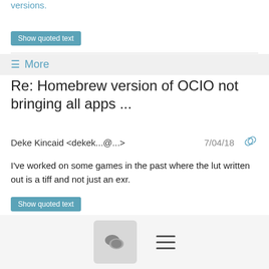versions.
Show quoted text
More
Re: Homebrew version of OCIO not bringing all apps ...
Deke Kincaid <dekek...@...>   7/04/18
I've worked on some games in the past where the lut written out is a tiff and not just an exr.

So I vote for #1.
Show quoted text
More